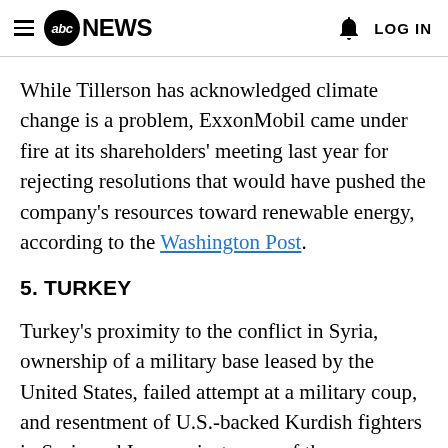abc NEWS  LOG IN
While Tillerson has acknowledged climate change is a problem, ExxonMobil came under fire at its shareholders' meeting last year for rejecting resolutions that would have pushed the company's resources toward renewable energy, according to the Washington Post.
5. TURKEY
Turkey's proximity to the conflict in Syria, ownership of a military base leased by the United States, failed attempt at a military coup, and resentment of U.S.-backed Kurdish fighters in Syria and Iraq are just some of the